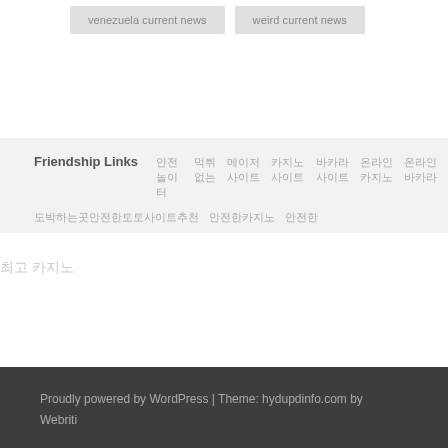venezuela current news
weird current news
Friendship Links
안전놀이터 먹튀없는 메이저사이트 카지노사이트 바카라사이트 온라인카지노 온라인바카라 도박하는곳 안전한곳
최고의 카지노
Proudly powered by WordPress | Theme: hydupdinfo.com by Webriti